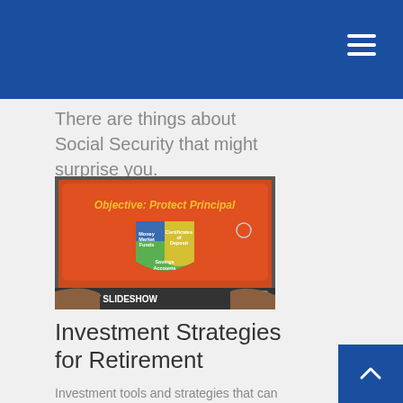There are things about Social Security that might surprise you.
[Figure (screenshot): Tablet displaying a slideshow about investment strategies with shield graphic showing 'Objective: Protect Principal' with sections for Money Market Funds, Certificates of Deposit, and Savings accounts. A 'START SLIDESHOW' button appears at the bottom.]
Investment Strategies for Retirement
Investment tools and strategies that can enable you